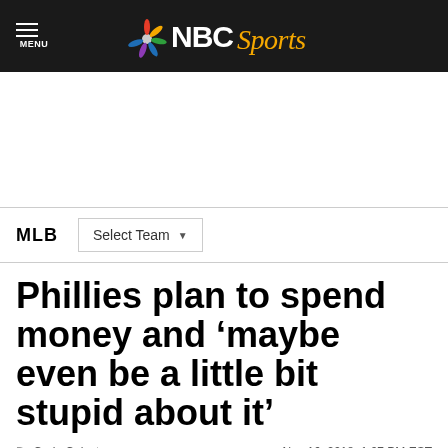MENU | NBC Sports
[Figure (other): Advertisement placeholder area (white space)]
MLB | Select Team
Phillies plan to spend money and ‘maybe even be a little bit stupid about it’
By Craig Calcaterra   Nov 16, 2018, 1:07 PM EST